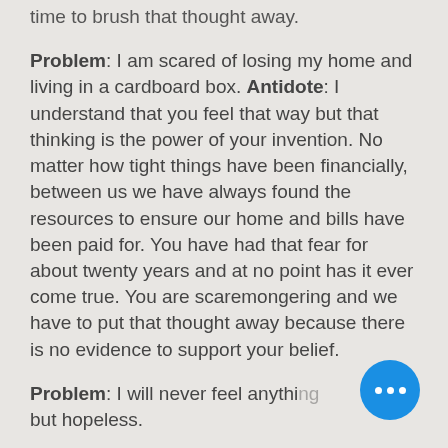time to brush that thought away.
Problem: I am scared of losing my home and living in a cardboard box. Antidote: I understand that you feel that way but that thinking is the power of your invention. No matter how tight things have been financially, between us we have always found the resources to ensure our home and bills have been paid for. You have had that fear for about twenty years and at no point has it ever come true. You are scaremongering and we have to put that thought away because there is no evidence to support your belief.
Problem: I will never feel anything but hopeless.